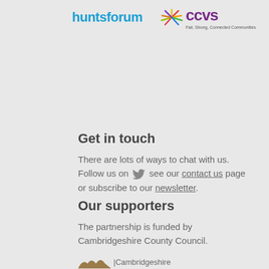[Figure (logo): huntsforum logo in blue text and CCVS logo with colorful burst graphic and purple text, tagline: Fair, Strong, Connected Communities]
Get in touch
There are lots of ways to chat with us. Follow us on [twitter bird icon] see our contact us page or subscribe to our newsletter.
Our supporters
The partnership is funded by Cambridgeshire County Council.
[Figure (logo): Cambridgeshire County Council logo with brown hills/waves graphic and text 'Cambridgeshire']